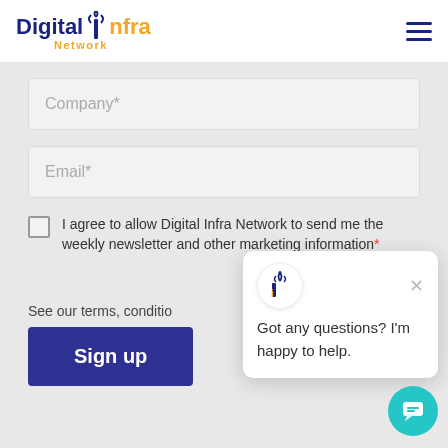[Figure (logo): Digital Infra Network logo with wifi icon on the I]
[Figure (other): Hamburger menu icon (three horizontal lines)]
Company*
Email*
I agree to allow Digital Infra Network to send me the weekly newsletter and other marketing information*
See our terms, conditio...
Sign up
[Figure (other): Chat popup with DI logo, close button, and message: Got any questions? I'm happy to help.]
[Figure (other): Teal circular chat button at bottom right]